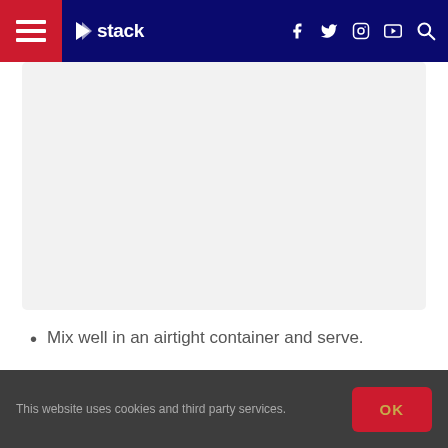stack
[Figure (photo): Large image placeholder area with light gray background]
Mix well in an airtight container and serve.
Pasta Salad
This website uses cookies and third party services. OK